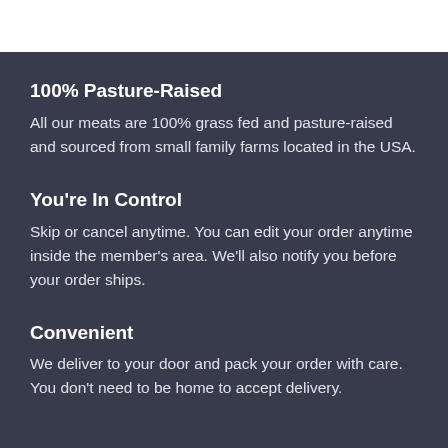100% Pasture-Raised
All our meats are 100% grass fed and pasture-raised and sourced from small family farms located in the USA.
You're In Control
Skip or cancel anytime. You can edit your order anytime inside the member's area. We'll also notify you before your order ships.
Convenient
We deliver to your door and pack your order with care. You don't need to be home to accept delivery.